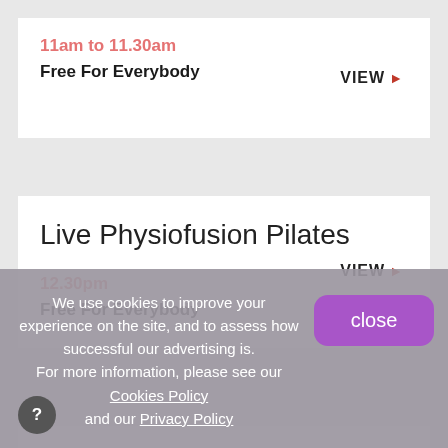11am to 11.30am
Free For Everybody
VIEW ▶
Live Physiofusion Pilates
12.30pm
Free For Everybody
VIEW ▶
Thriving lifes ups and downs
We use cookies to improve your experience on the site, and to assess how successful our advertising is. For more information, please see our Cookies Policy and our Privacy Policy